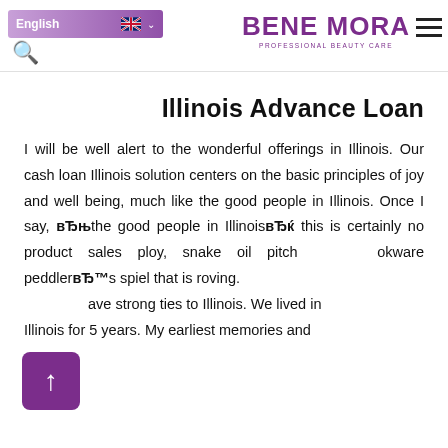English | BENE MORA PROFESSIONAL BEAUTY CARE
Illinois Advance Loan
I will be well alert to the wonderful offerings in Illinois. Our cash loan Illinois solution centers on the basic principles of joy and well being, much like the good people in Illinois. Once I say, “the good people in Illinois” this is certainly no product sales ploy, snake oil pitch or cookware peddler’s spiel that is roving. I have strong ties to Illinois. We lived in Illinois for 5 years. My earliest memories and